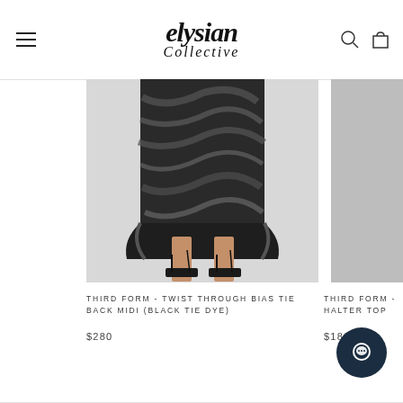elysian Collective
[Figure (photo): Product photo of a model wearing a black tie dye bias midi skirt with lace-up sandals, showing from waist down]
THIRD FORM - TWIST THROUGH BIAS TIE BACK MIDI (BLACK TIE DYE)
$280
[Figure (photo): Partial product photo of second item on right side, partially cropped]
THIRD FORM - HALTER TOP
$180